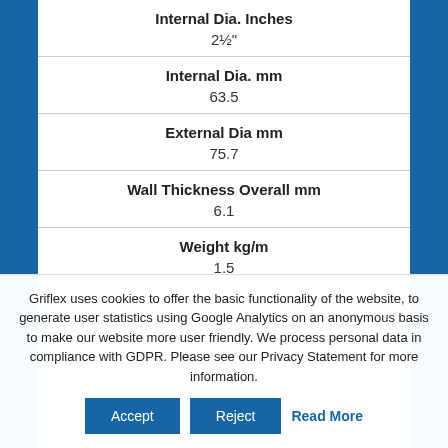| Internal Dia. Inches | Internal Dia. mm | External Dia mm | Wall Thickness Overall mm | Weight kg/m |
| --- | --- | --- | --- | --- |
| 2½" |
| 63.5 |
| 75.7 |
| 6.1 |
| 1.5 |
Griflex uses cookies to offer the basic functionality of the website, to generate user statistics using Google Analytics on an anonymous basis to make our website more user friendly. We process personal data in compliance with GDPR. Please see our Privacy Statement for more information.